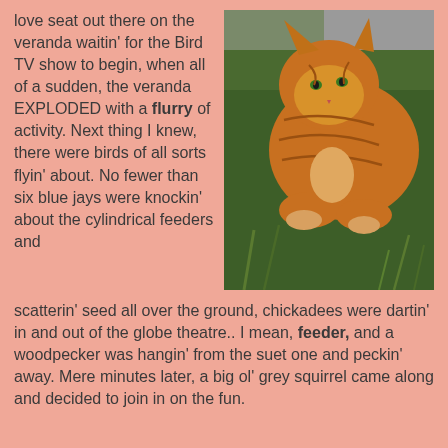love seat out there on the veranda waitin' for the Bird TV show to begin, when all of a sudden, the veranda EXPLODED with a flurry of activity.  Next thing I knew, there were birds of all sorts flyin' about.  No fewer than six blue jays were knockin' about the cylindrical feeders and scatterin' seed all over the ground, chickadees were dartin' in and out of the globe theatre..  I mean, feeder, and a woodpecker was hangin' from the suet one and peckin' away.  Mere minutes later, a big ol' grey squirrel came along and decided to join in on the fun.
[Figure (photo): An orange tabby cat crouched in green grass, looking downward, photographed from above.]